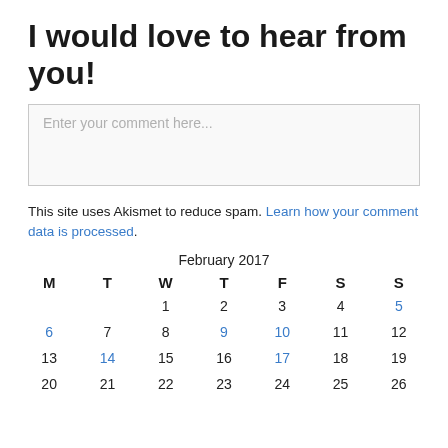I would love to hear from you!
Enter your comment here...
This site uses Akismet to reduce spam. Learn how your comment data is processed.
| M | T | W | T | F | S | S |
| --- | --- | --- | --- | --- | --- | --- |
|  |  | 1 | 2 | 3 | 4 | 5 |
| 6 | 7 | 8 | 9 | 10 | 11 | 12 |
| 13 | 14 | 15 | 16 | 17 | 18 | 19 |
| 20 | 21 | 22 | 23 | 24 | 25 | 26 |